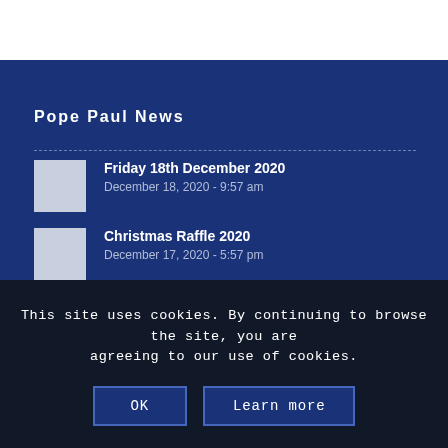Pope Paul News
Friday 18th December 2020 | December 18, 2020 - 9:57 am
Christmas Raffle 2020 | December 17, 2020 - 5:57 pm
Music concerts 2020 | December 17, 2020 - 5:52 pm
KS2 Advent Reflection 2020 | December 13, 2020
This site uses cookies. By continuing to browse the site, you are agreeing to our use of cookies.